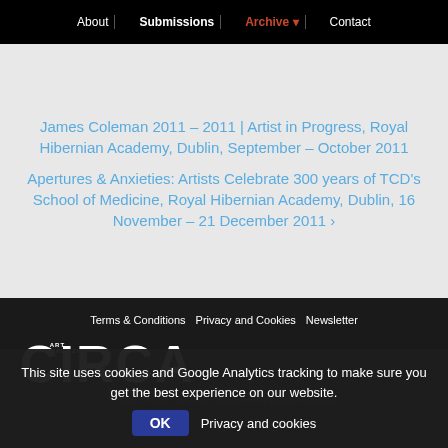About | Submissions | Archive | Contact
James Coleman 2011 – 2011 | Artist in Progress, Royal Hibernian Academy, Dublin, September – October 2011
Apertures & Anxieties: Artists Celebrate 300 years of TCD's School of Medicine, Royal Hibernian Academy, Dublin, 16 November – 21 December 2011
Terms & Conditions  Privacy and Cookies  Newsletter
[Figure (logo): CIRCA Art Magazine logo in white on black background]
© 1981 – 2022 CIRCA Art Magazine. All Rights Reserved.
This site uses cookies and Google Analytics tracking to make sure you get the best experience on our website.
OK  Privacy and cookies